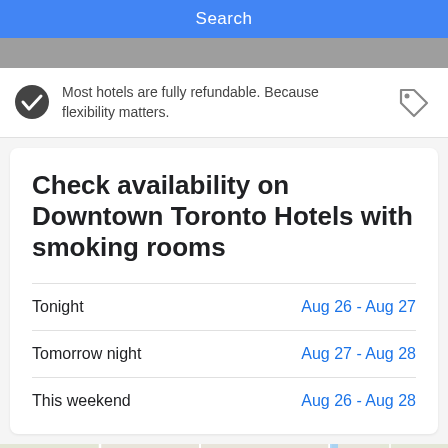[Figure (screenshot): Blue Search button bar at top]
Most hotels are fully refundable. Because flexibility matters.
Check availability on Downtown Toronto Hotels with smoking rooms
Tonight	Aug 26 - Aug 27
Tomorrow night	Aug 27 - Aug 28
This weekend	Aug 26 - Aug 28
[Figure (map): Partial map showing Museum of Contemporary Art, IE Junction, Woodbine Bea, and Leslieville areas in Toronto]